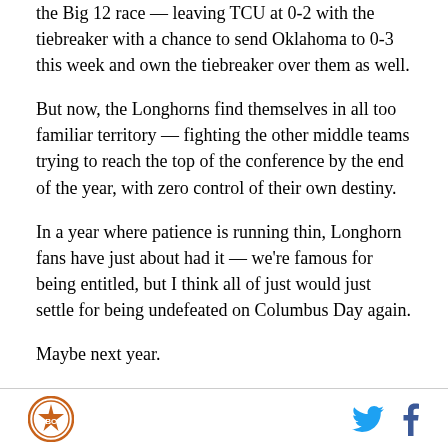the Big 12 race — leaving TCU at 0-2 with the tiebreaker with a chance to send Oklahoma to 0-3 this week and own the tiebreaker over them as well.
But now, the Longhorns find themselves in all too familiar territory — fighting the other middle teams trying to reach the top of the conference by the end of the year, with zero control of their own destiny.
In a year where patience is running thin, Longhorn fans have just about had it — we're famous for being entitled, but I think all of just would just settle for being undefeated on Columbus Day again.
Maybe next year.
Burnt Orange Nation logo | Twitter | Facebook